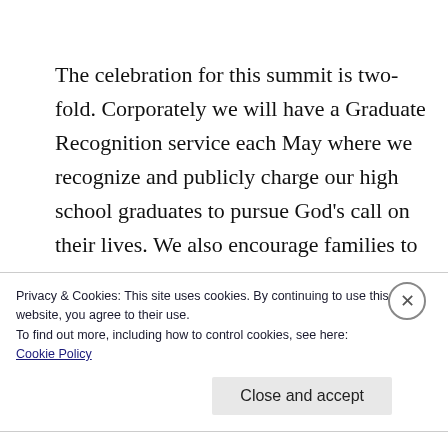The celebration for this summit is two-fold. Corporately we will have a Graduate Recognition service each May where we recognize and publicly charge our high school graduates to pursue God’s call on their lives. We also encourage families to host their own celebration at a venue and in a context where parents can speak words
Privacy & Cookies: This site uses cookies. By continuing to use this website, you agree to their use.
To find out more, including how to control cookies, see here:
Cookie Policy
Close and accept